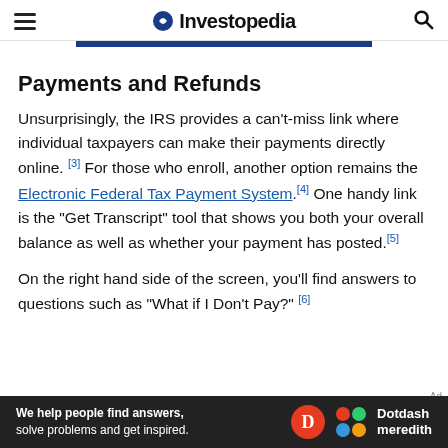Investopedia
Payments and Refunds
Unsurprisingly, the IRS provides a can't-miss link where individual taxpayers can make their payments directly online. [3] For those who enroll, another option remains the Electronic Federal Tax Payment System. [4] One handy link is the "Get Transcript" tool that shows you both your overall balance as well as whether your payment has posted. [5]
On the right hand side of the screen, you'll find answers to questions such as "What if I Don't Pay?" [6]